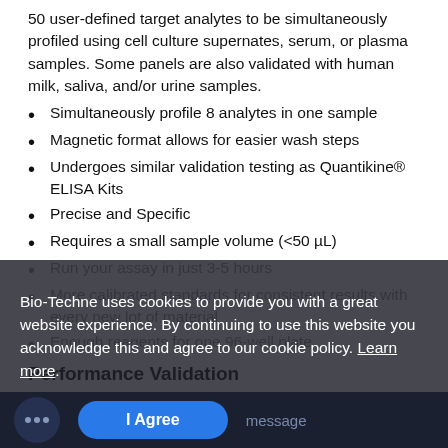50 user-defined target analytes to be simultaneously profiled using cell culture supernates, serum, or plasma samples. Some panels are also validated with human milk, saliva, and/or urine samples.
Simultaneously profile 8 analytes in one sample
Magnetic format allows for easier wash steps
Undergoes similar validation testing as Quantikine® ELISA Kits
Precise and Specific
Requires a small sample volume (<50 µL)
Run your assay in just 3-5 hours
More calibrated standards for consistent results with every new lot of material
Enough reagents for one 96-well plate
Performance Validation
Our Luminex High Performance assays undergo our most extensive validation testing using Performance...
Bio-Techne uses cookies to provide you with a great website experience. By continuing to use this website you acknowledge this and agree to our cookie policy. Learn more.